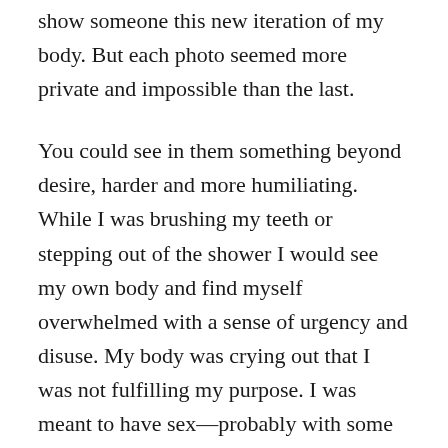show someone this new iteration of my body. But each photo seemed more private and impossible than the last.
You could see in them something beyond desire, harder and more humiliating. While I was brushing my teeth or stepping out of the shower I would see my own body and find myself overwhelmed with a sense of urgency and disuse. My body was crying out that I was not fulfilling my purpose. I was meant to have sex—probably with some wild number of people. Maybe it was more savage than that, that I was meant not to f*** but to get f***ed. The purpose of my life at large remained mysterious, but I had come around to the idea that my purpose as a body was simple.
I was too fearful of the world to go out and get f***ed, too